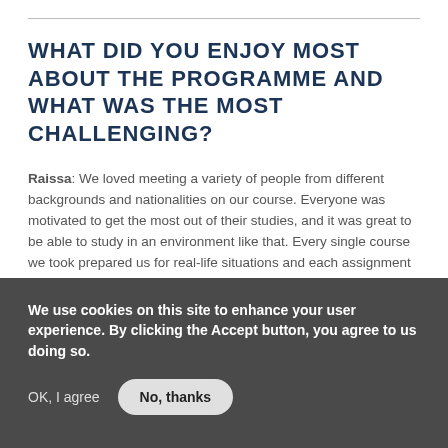WHAT DID YOU ENJOY MOST ABOUT THE PROGRAMME AND WHAT WAS THE MOST CHALLENGING?
Raissa: We loved meeting a variety of people from different backgrounds and nationalities on our course. Everyone was motivated to get the most out of their studies, and it was great to be able to study in an environment like that. Every single course we took prepared us for real-life situations and each assignment was based on our own ideas and business plans. We were glad that none of the modules were about random case studies that were
We use cookies on this site to enhance your user experience. By clicking the Accept button, you agree to us doing so.
OK, I agree   No, thanks